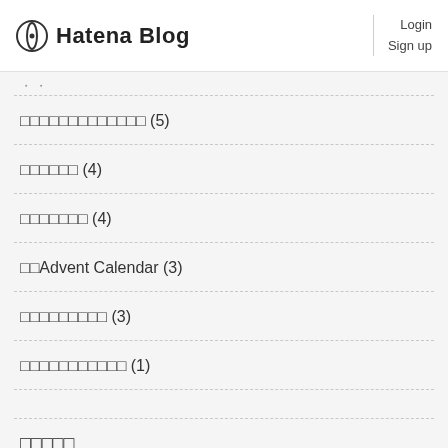Hatena Blog | Login Sign up
・ ・
□□□□□□□□□□□□□ (5)
□□□□□□ (4)
□□□□□□□ (4)
□□Advent Calendar (3)
□□□□□□□□□ (3)
□□□□□□□□□□□ (1)
□□□□□